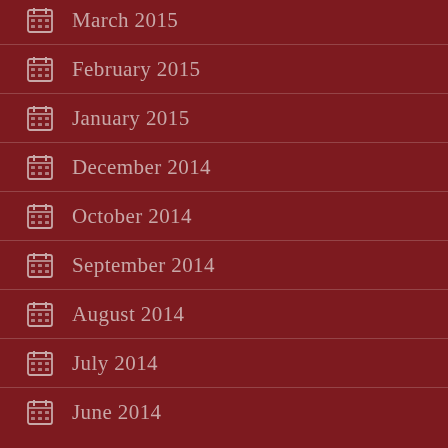March 2015
February 2015
January 2015
December 2014
October 2014
September 2014
August 2014
July 2014
June 2014